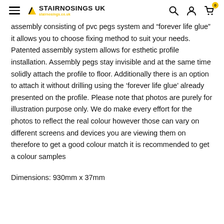STAIRNOSINGS UK
assembly consisting of pvc pegs system and “forever life glue” it allows you to choose fixing method to suit your needs. Patented assembly system allows for esthetic profile installation. Assembly pegs stay invisible and at the same time solidly attach the profile to floor. Additionally there is an option to attach it without drilling using the ‘forever life glue’ already presented on the profile. Please note that photos are purely for illustration purpose only. We do make every effort for the photos to reflect the real colour however those can vary on different screens and devices you are viewing them on therefore to get a good colour match it is recommended to get a colour samples
Dimensions: 930mm x 37mm